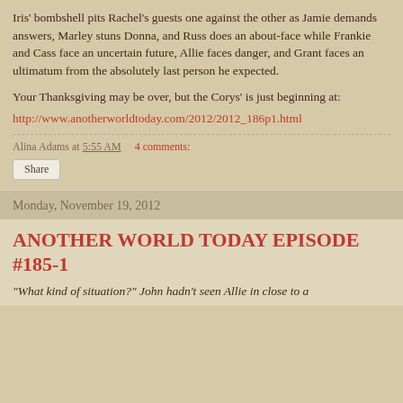Iris' bombshell pits Rachel's guests one against the other as Jamie demands answers, Marley stuns Donna, and Russ does an about-face while Frankie and Cass face an uncertain future, Allie faces danger, and Grant faces an ultimatum from the absolutely last person he expected.
Your Thanksgiving may be over, but the Corys' is just beginning at:
http://www.anotherworldtoday.com/2012/2012_186p1.html
Alina Adams at 5:55 AM     4 comments:
Share
Monday, November 19, 2012
ANOTHER WORLD TODAY EPISODE #185-1
“What kind of situation?” John hadn’t seen Allie in close to a